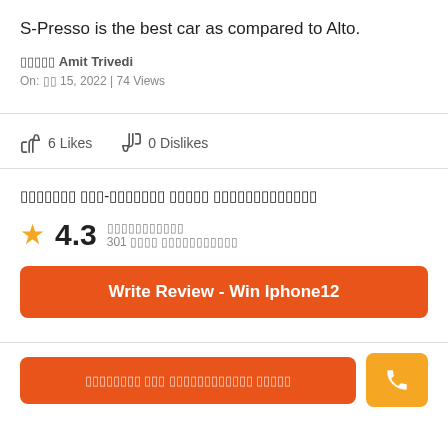S-Presso is the best car as compared to Alto.
░░░░░ Amit Trivedi
On: ░░ 15, 2022 | 74 Views
6 Likes   0 Dislikes
░░░░░░░ ░░░-░░░░░░░ ░░░░░ ░░░░░░░░░░░░░
★ 4.3
░░░░░░░░░░░
301 ░░░░ ░░░░░░░░░░░
Write Review - Win Iphone12
░░░░░░░░ ░░░ ░░░░░░░░░░░░ ░░░░░